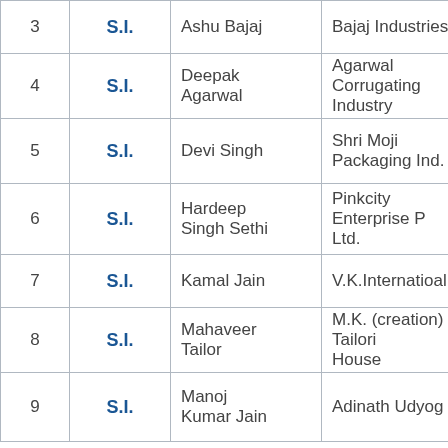| # | Type | Name | Company |
| --- | --- | --- | --- |
| 3 | S.I. | Ashu Bajaj | Bajaj Industries |
| 4 | S.I. | Deepak Agarwal | Agarwal Corrugating Industry |
| 5 | S.I. | Devi Singh | Shri Moji Packaging Ind. |
| 6 | S.I. | Hardeep Singh Sethi | Pinkcity Enterprise Pvt. Ltd. |
| 7 | S.I. | Kamal Jain | V.K.Internatioal |
| 8 | S.I. | Mahaveer Tailor | M.K. (creation) Tailoring House |
| 9 | S.I. | Manoj Kumar Jain | Adinath Udyog |